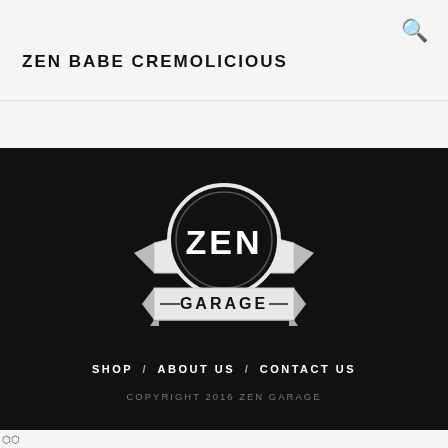🔍
ZEN BABE CREMOLICIOUS
[Figure (logo): Zen Garage logo: circular badge with ZEN text in center, EST. on left banner, 2011 on right banner, GARAGE text on bottom ribbon banner. Black and white design.]
SHOP / ABOUT US / CONTACT US
COPYRIGHT 2016 ZEN GARAGE